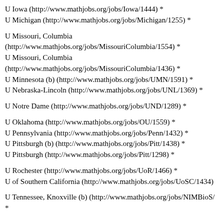U Iowa (http://www.mathjobs.org/jobs/Iowa/1444) *
U Michigan (http://www.mathjobs.org/jobs/Michigan/1255) *
U Missouri, Columbia (http://www.mathjobs.org/jobs/MissouriColumbia/1554) *
U Missouri, Columbia (http://www.mathjobs.org/jobs/MissouriColumbia/1436) *
U Minnesota (b) (http://www.mathjobs.org/jobs/UMN/1591) *
U Nebraska-Lincoln (http://www.mathjobs.org/jobs/UNL/1369) *
U Notre Dame (http://www.mathjobs.org/jobs/UND/1289) *
U Oklahoma (http://www.mathjobs.org/jobs/OU/1559) *
U Pennsylvania (http://www.mathjobs.org/jobs/Penn/1432) *
U Pittsburgh (b) (http://www.mathjobs.org/jobs/Pitt/1438) *
U Pittsburgh (http://www.mathjobs.org/jobs/Pitt/1298) *
U Rochester (http://www.mathjobs.org/jobs/UoR/1466) *
U of Southern California (http://www.mathjobs.org/jobs/UoSC/1434)
U Tennessee, Knoxville (b) (http://www.mathjobs.org/jobs/NIMBioS/... *